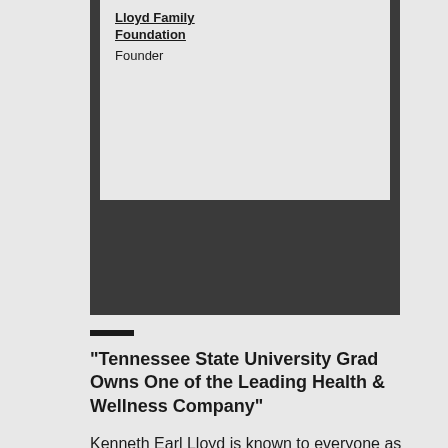[Figure (other): Dark card with white inset area showing Lloyd Family Foundation title and Founder subtitle]
“Tennessee State University Grad Owns One of the Leading Health & Wellness Company”
Kenneth Earl Lloyd is known to everyone as “Kenny” has spent more than 15 years building multi-million-dollar empires as an executive and distributor for several major global network marketing companies. As a powerhouse in Ardyss International and TruLife Shutterment, one of